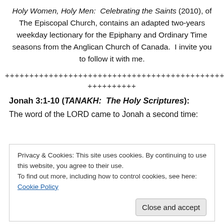Holy Women, Holy Men:  Celebrating the Saints (2010), of The Episcopal Church, contains an adapted two-years weekday lectionary for the Epiphany and Ordinary Time seasons from the Anglican Church of Canada.  I invite you to follow it with me.
+++++++++++++++++++++++++++++++++++++++++++++++
++++++++++
Jonah 3:1-10 (TANAKH:  The Holy Scriptures):
The word of the LORD came to Jonah a second time:
Privacy & Cookies: This site uses cookies. By continuing to use this website, you agree to their use.
To find out more, including how to control cookies, see here: Cookie Policy
Close and accept
LORD's command.